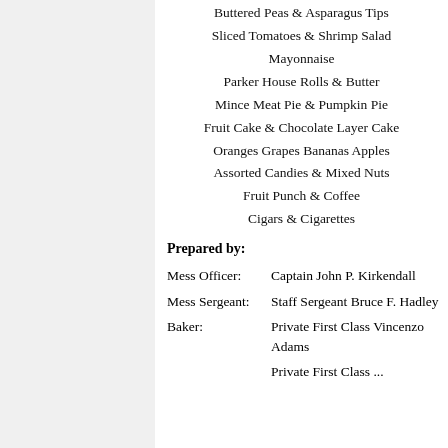Buttered Peas & Asparagus Tips
Sliced Tomatoes & Shrimp Salad
Mayonnaise
Parker House Rolls & Butter
Mince Meat Pie & Pumpkin Pie
Fruit Cake & Chocolate Layer Cake
Oranges Grapes Bananas Apples
Assorted Candies & Mixed Nuts
Fruit Punch & Coffee
Cigars & Cigarettes
Prepared by:
| Role | Name |
| --- | --- |
| Mess Officer: | Captain John P. Kirkendall |
| Mess Sergeant: | Staff Sergeant Bruce F. Hadley |
| Baker: | Private First Class Vincenzo Adams |
|  | Private First Class ... |